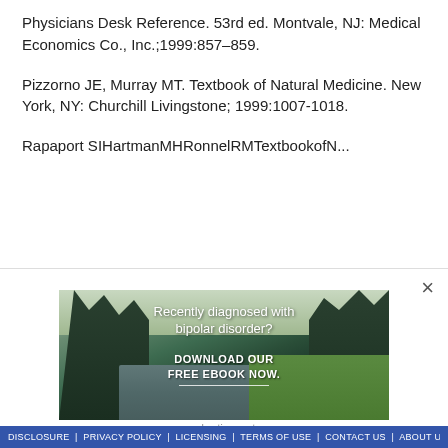Physicians Desk Reference. 53rd ed. Montvale, NJ: Medical Economics Co., Inc.;1999:857–859.
Pizzorno JE, Murray MT. Textbook of Natural Medicine. New York, NY: Churchill Livingstone; 1999:1007-1018.
(partial, cut off) ...
[Figure (photo): Advertisement image showing a forest/nature scene with a river, trees, and green meadow. Text overlay reads 'Recently diagnosed with bipolar disorder? DOWNLOAD OUR FREE EBOOK NOW.' with a caption below reading 'advertisement'.]